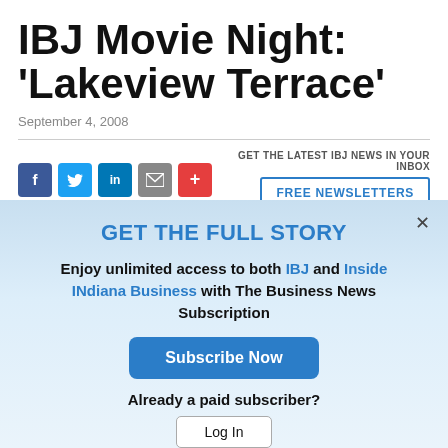IBJ Movie Night: ‘Lakeview Terrace’
September 4, 2008
[Figure (infographic): Social media share icons: Facebook, Twitter, LinkedIn, Email, Plus]
GET THE LATEST IBJ NEWS IN YOUR INBOX
FREE NEWSLETTERS
GET THE FULL STORY
Enjoy unlimited access to both IBJ and Inside INdiana Business with The Business News Subscription
Subscribe Now
Already a paid subscriber?
Log In